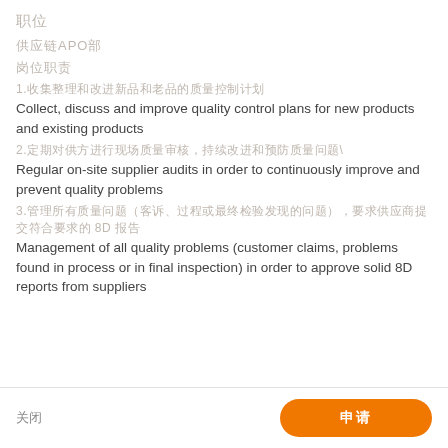职位
供应链APO部
岗位职责
1.收集整理和改进新品和老品的质量控制计划
Collect, discuss and improve quality control plans for new products and existing products
2.定期对供方进行现场质量审核，持续改进和预防质量问题\
Regular on-site supplier audits in order to continuously improve and prevent quality problems
3.管理所有质量问题（客诉、过程或最终检验发现的问题），要求供应商提交符合要求的 8D 报告
Management of all quality problems (customer claims, problems found in process or in final inspection) in order to approve solid 8D reports from suppliers
关闭   申请